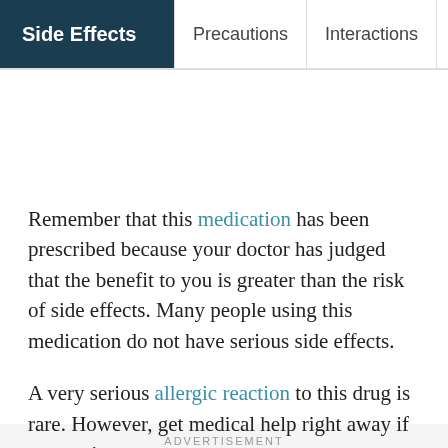Side Effects | Precautions | Interactions | Ove...
Remember that this medication has been prescribed because your doctor has judged that the benefit to you is greater than the risk of side effects. Many people using this medication do not have serious side effects.
A very serious allergic reaction to this drug is rare. However, get medical help right away if you notice any...
ADVERTISEMENT